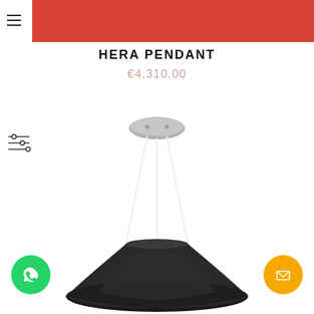INSPLOSION — A STORE OF INSPIRATIONS | ADD TO CART | TRADE PROGRAM
HERA PENDANT
€4,310.00
[Figure (photo): Hera Pendant lamp product photo showing a large black ring pendant light with a metal ceiling canopy and white suspension cables, photographed on white background]
[Figure (logo): WhatsApp contact button — green circle with WhatsApp phone icon]
[Figure (logo): Email contact button — orange circle with envelope icon]